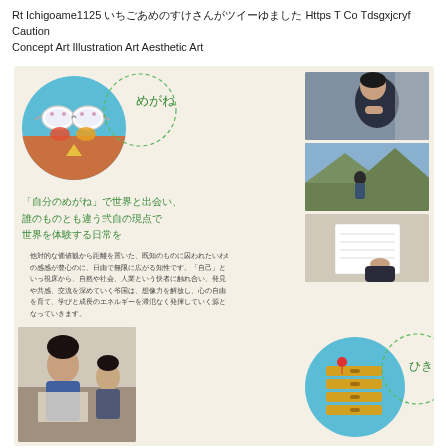Rt Ichigoame1125 いちごあめのすけさんがツイーゆました Https T Co Tdsgxjcryf Caution
Concept Art Illustration Art Aesthetic Art
[Figure (illustration): Colorful circular illustration of glasses/megane with sunglasses design on teal background, with a dashed circle outline labeled めがね]
[Figure (photo): Three stacked photos: student studying/thinking, person outdoors in mountains, student writing/reading paper]
「自分のめがね」で世界と出会い、
誰のものとも違う弐自の現点で
世界を体験する日常を
他対的な価値観から距離を置いた、既知のものに囚われたいわtの感感が豊心のに、日由で無限に広がる知性です。「自己」といっ視床から、自然や社会、人業という快者に触れ合い、発見や共感、交流を深めていく爷国は、想像力を解放し、心の自由を育て、学びと成長のエネルギーを滞氾なく発揮していく源となっていきます。
[Figure (photo): Photo of students in classroom, woman studying/working at desk]
[Figure (illustration): Circular illustration on teal background with golden/yellow drawer-like shapes, with dashed circle outline labeled ひきだし]